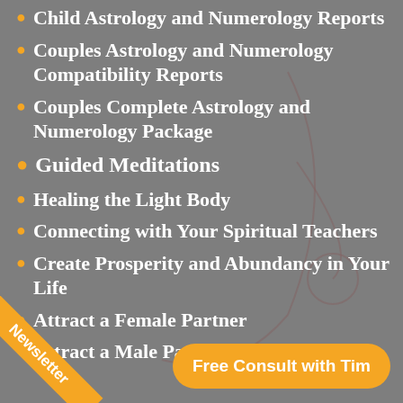Child Astrology and Numerology Reports
Couples Astrology and Numerology Compatibility Reports
Couples Complete Astrology and Numerology Package
Guided Meditations
Healing the Light Body
Connecting with Your Spiritual Teachers
Create Prosperity and Abundancy in Your Life
Attract a Female Partner
Attract a Male Pa…
Newsletter
Free Consult with Tim